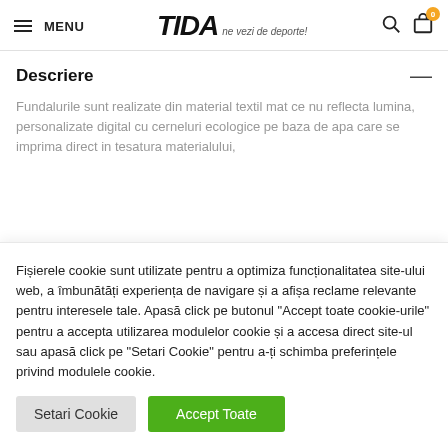MENU | TIDA ne vezi de deporte!
Descriere
Fundalurile sunt realizate din material textil mat ce nu reflecta lumina, personalizate digital cu cerneluri ecologice pe baza de apa care se imprima direct in tesatura materialului,
Fișierele cookie sunt utilizate pentru a optimiza funcționalitatea site-ului web, a îmbunătăți experiența de navigare și a afișa reclame relevante pentru interesele tale. Apasă click pe butonul "Accept toate cookie-urile" pentru a accepta utilizarea modulelor cookie și a accesa direct site-ul sau apasă click pe "Setari Cookie" pentru a-ți schimba preferințele privind modulele cookie.
Setari Cookie | Accept Toate